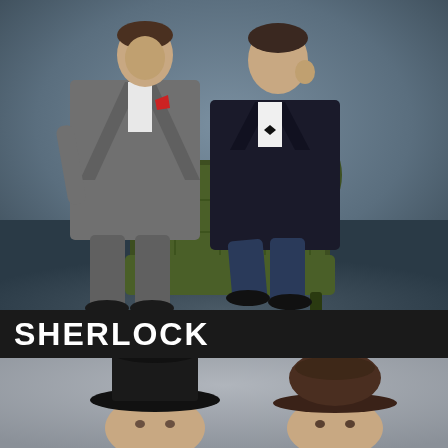[Figure (photo): Two men in period suits posed with a dark green leather Chesterfield armchair. One man in grey tweed stands leaning on the chair arm, the other in a dark suit sits in the chair with legs crossed and fingers raised to his temple.]
SHERLOCK
[Figure (photo): Two people wearing period hats — one in a black top hat on the left, one in a dark brown bowler hat on the right — shown from the shoulders up against a light grey background.]